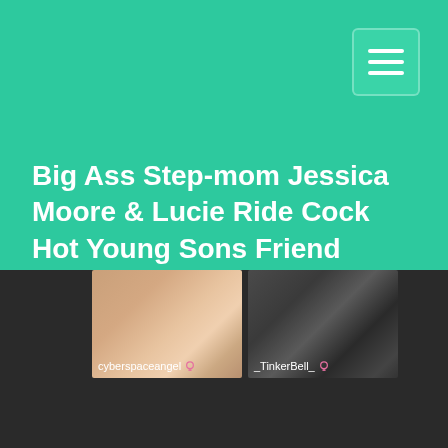Big Ass Step-mom Jessica Moore & Lucie Ride Cock Hot Young Sons Friend
[Figure (screenshot): Two video thumbnails side by side. Left thumbnail shows skin-toned image with label 'cyberspaceangel' and female symbol. Right thumbnail shows dark image with label '_TinkerBell_' and female symbol.]